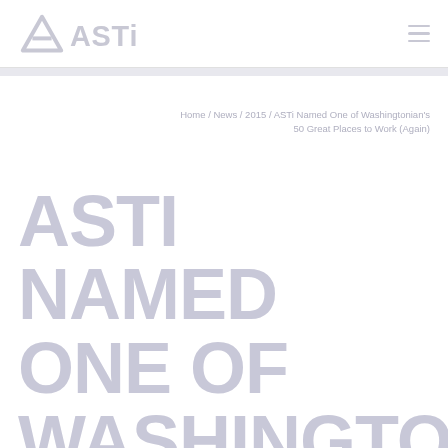ASTi [logo]
Home / News / 2015 / ASTi Named One of Washingtonian's 50 Great Places to Work (Again)
ASTi NAMED ONE OF WASHINGTONIAN'S 50 GREAT PLACES TO